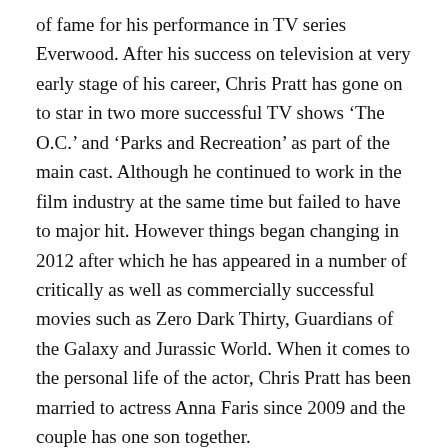of fame for his performance in TV series Everwood. After his success on television at very early stage of his career, Chris Pratt has gone on to star in two more successful TV shows ‘The O.C.’ and ‘Parks and Recreation’ as part of the main cast. Although he continued to work in the film industry at the same time but failed to have to major hit. However things began changing in 2012 after which he has appeared in a number of critically as well as commercially successful movies such as Zero Dark Thirty, Guardians of the Galaxy and Jurassic World. When it comes to the personal life of the actor, Chris Pratt has been married to actress Anna Faris since 2009 and the couple has one son together.
Chris Pratt Personal Details:
Complete Name: Christopher Michael Pratt